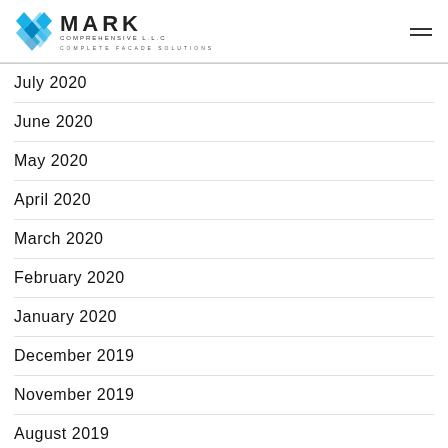MARK COMPREHENSIVE L.L.C — COMPLETE FACADE SOLUTIONS
July 2020
June 2020
May 2020
April 2020
March 2020
February 2020
January 2020
December 2019
November 2019
August 2019